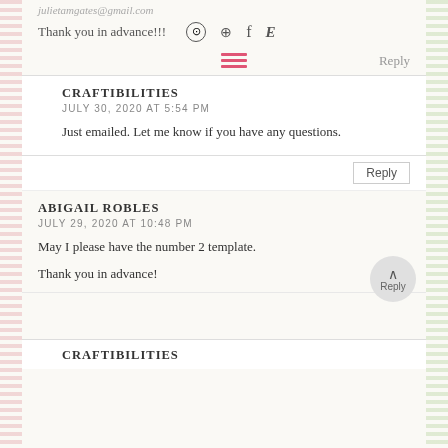julietamgates@gmail.com
Thank you in advance!!!
Reply
CRAFTIBILITIES
JULY 30, 2020 AT 5:54 PM
Just emailed. Let me know if you have any questions.
Reply
ABIGAIL ROBLES
JULY 29, 2020 AT 10:48 PM
May I please have the number 2 template.
Thank you in advance!
Reply
CRAFTIBILITIES